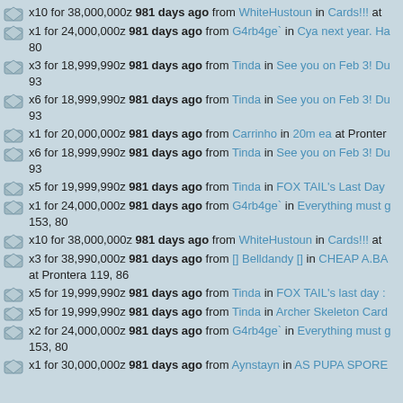x10 for 38,000,000z 981 days ago from WhiteHustoun in Cards!!! at
x1 for 24,000,000z 981 days ago from G4rb4ge` in Cya next year. Ha
80
x3 for 18,999,990z 981 days ago from Tinda in See you on Feb 3! Du
93
x6 for 18,999,990z 981 days ago from Tinda in See you on Feb 3! Du
93
x1 for 20,000,000z 981 days ago from Carrinho in 20m ea at Pronter
x6 for 18,999,990z 981 days ago from Tinda in See you on Feb 3! Du
93
x5 for 19,999,990z 981 days ago from Tinda in FOX TAIL's Last Day
x1 for 24,000,000z 981 days ago from G4rb4ge` in Everything must g
153, 80
x10 for 38,000,000z 981 days ago from WhiteHustoun in Cards!!! at
x3 for 38,990,000z 981 days ago from [] Belldandy [] in CHEAP A.BA
at Prontera 119, 86
x5 for 19,999,990z 981 days ago from Tinda in FOX TAIL's last day :
x5 for 19,999,990z 981 days ago from Tinda in Archer Skeleton Card
x2 for 24,000,000z 981 days ago from G4rb4ge` in Everything must g
153, 80
x1 for 30,000,000z 981 days ago from Aynstayn in AS PUPA SPORE